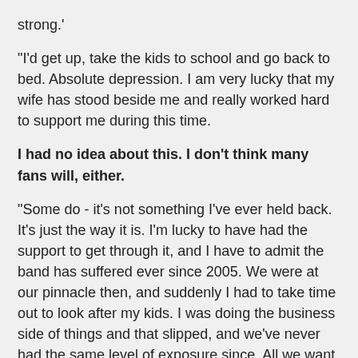strong.'
"I'd get up, take the kids to school and go back to bed. Absolute depression. I am very lucky that my wife has stood beside me and really worked hard to support me during this time.
I had no idea about this. I don't think many fans will, either.
"Some do - it's not something I've ever held back. It's just the way it is. I'm lucky to have had the support to get through it, and I have to admit the band has suffered ever since 2005. We were at our pinnacle then, and suddenly I had to take time out to look after my kids. I was doing the business side of things and that slipped, and we've never had the same level of exposure since. All we want to do is hit the road and play this music live."